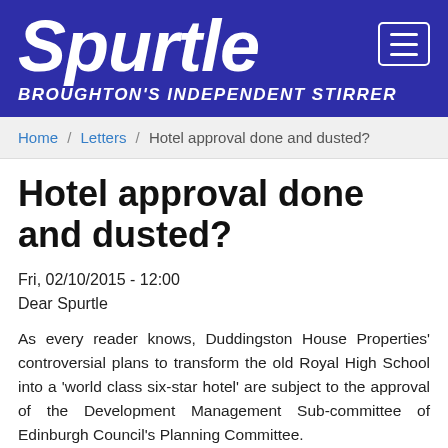Spurtle — BROUGHTON'S INDEPENDENT STIRRER
Home / Letters / Hotel approval done and dusted?
Hotel approval done and dusted?
Fri, 02/10/2015 - 12:00
Dear Spurtle
As every reader knows, Duddingston House Properties' controversial plans to transform the old Royal High School into a 'world class six-star hotel' are subject to the approval of the Development Management Sub-committee of Edinburgh Council's Planning Committee.